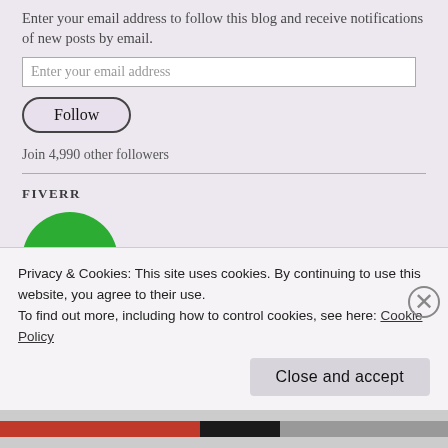Enter your email address to follow this blog and receive notifications of new posts by email.
Enter your email address
Follow
Join 4,990 other followers
FIVERR
[Figure (logo): Fiverr green circular logo with white 'fiverr®' wordmark]
Check Out My
Privacy & Cookies: This site uses cookies. By continuing to use this website, you agree to their use.
To find out more, including how to control cookies, see here: Cookie Policy
Close and accept